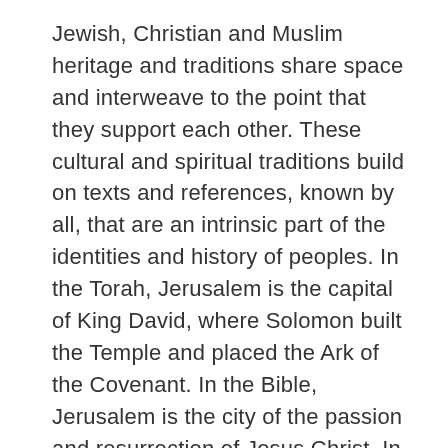Jewish, Christian and Muslim heritage and traditions share space and interweave to the point that they support each other. These cultural and spiritual traditions build on texts and references, known by all, that are an intrinsic part of the identities and history of peoples. In the Torah, Jerusalem is the capital of King David, where Solomon built the Temple and placed the Ark of the Covenant. In the Bible, Jerusalem is the city of the passion and resurrection of Jesus Christ. In the Quran, Jerusalem is the third holiest site in Islam, where Muhammad arrived after his night journey from Al Haram Mosq (Mecca) to Al Aqsa.